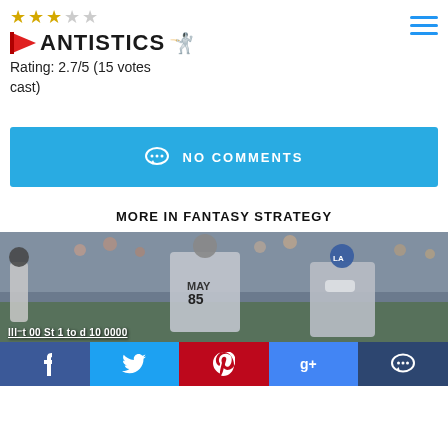FANTISTICS — Rating: 2.7/5 (15 votes cast)
NO COMMENTS
MORE IN FANTASY STRATEGY
[Figure (photo): Baseball players on field, Dodgers player #85 May walking with teammates in stadium crowd]
Social share bar: Facebook, Twitter, Pinterest, Google+, Comments